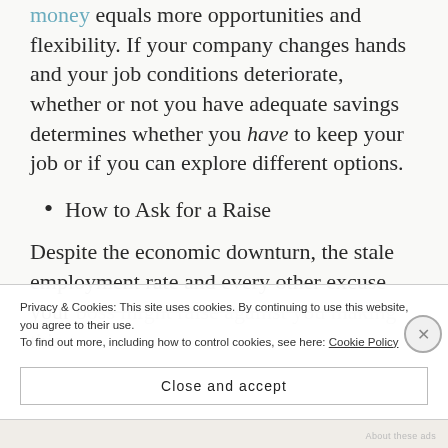money equals more opportunities and flexibility. If your company changes hands and your job conditions deteriorate, whether or not you have adequate savings determines whether you have to keep your job or if you can explore different options.
How to Ask for a Raise
Despite the economic downturn, the stale employment rate and every other excuse your boss might raise against you making this
Privacy & Cookies: This site uses cookies. By continuing to use this website, you agree to their use. To find out more, including how to control cookies, see here: Cookie Policy
Close and accept